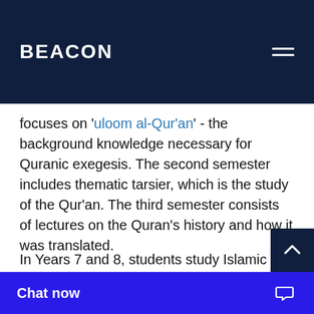BEACON
focuses on 'uloom al-Qur'an' - the background knowledge necessary for Quranic exegesis. The second semester includes thematic tarsier, which is the study of the Qur'an. The third semester consists of lectures on the Quran's history and how it was translated.
In Years 7 and 8, students study Islamic and Quran studies. They are studying towards a Record of School Achievement students who compl